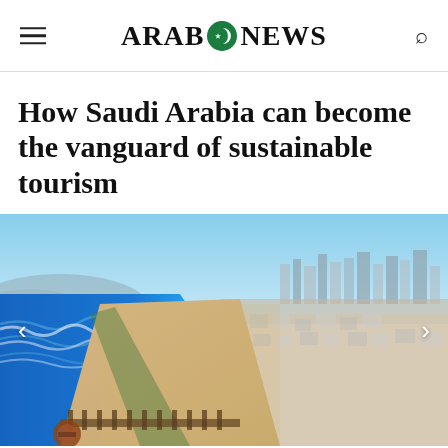ARAB NEWS
How Saudi Arabia can become the vanguard of sustainable tourism
[Figure (photo): Aerial view of a coastal city with a long sandy beach, ocean waves, a pier with a circular structure, and urban buildings stretching into the distance under a clear blue sky.]